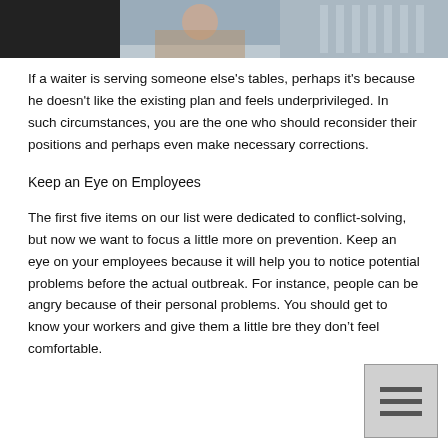[Figure (photo): A cropped photo strip at the top of the page showing what appears to be a restaurant or bar scene.]
If a waiter is serving someone else's tables, perhaps it's because he doesn't like the existing plan and feels underprivileged. In such circumstances, you are the one who should reconsider their positions and perhaps even make necessary corrections.
Keep an Eye on Employees
The first five items on our list were dedicated to conflict-solving, but now we want to focus a little more on prevention. Keep an eye on your employees because it will help you to notice potential problems before the actual outbreak. For instance, people can be angry because of their personal problems. You should get to know your workers and give them a little bre... they don't feel comfortable.